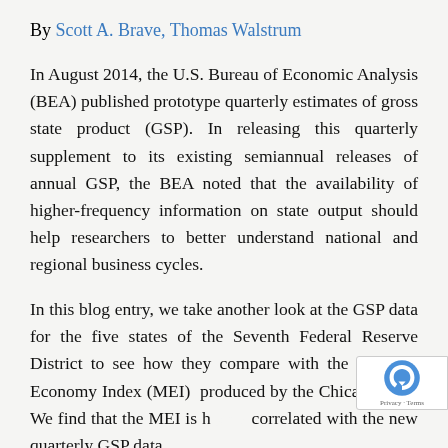By Scott A. Brave, Thomas Walstrum
In August 2014, the U.S. Bureau of Economic Analysis (BEA) published prototype quarterly estimates of gross state product (GSP). In releasing this quarterly supplement to its existing semiannual releases of annual GSP, the BEA noted that the availability of higher-frequency information on state output should help researchers to better understand national and regional business cycles.
In this blog entry, we take another look at the GSP data for the five states of the Seventh Federal Reserve District to see how they compare with the Midwest Economy Index (MEI) produced by the Chicago Fed.1 We find that the MEI is highly correlated with the new quarterly GSP data,